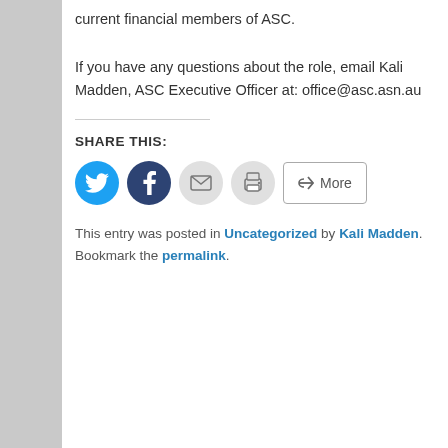current financial members of ASC.
If you have any questions about the role, email Kali Madden, ASC Executive Officer at: office@asc.asn.au
SHARE THIS:
[Figure (infographic): Social share buttons: Twitter (blue circle), Facebook (dark blue circle), Email (grey circle with envelope icon), Print (grey circle with printer icon), More (rectangle button with share icon)]
This entry was posted in Uncategorized by Kali Madden. Bookmark the permalink.
[Figure (illustration): Loading spinner / circular dots icon in blue, inside a square box with light border]
About Kali Madden
Kali is fascinated by communication in all its forms, especially when it comes to group dynamics and collective efforts to transform worldview. She reckons science communication is one of the primary stomping grounds for important communication activities across the globe. She has worked in research, science and